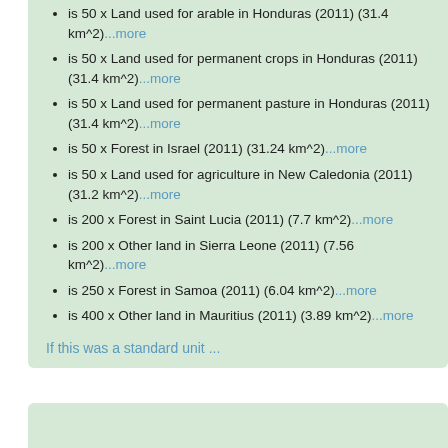is 50 x Land used for arable in Honduras (2011) (31.4 km^2)...more
is 50 x Land used for permanent crops in Honduras (2011) (31.4 km^2)...more
is 50 x Land used for permanent pasture in Honduras (2011) (31.4 km^2)...more
is 50 x Forest in Israel (2011) (31.24 km^2)...more
is 50 x Land used for agriculture in New Caledonia (2011) (31.2 km^2)...more
is 200 x Forest in Saint Lucia (2011) (7.7 km^2)...more
is 200 x Other land in Sierra Leone (2011) (7.56 km^2)...more
is 250 x Forest in Samoa (2011) (6.04 km^2)...more
is 400 x Other land in Mauritius (2011) (3.89 km^2)...more
If this was a standard unit ...